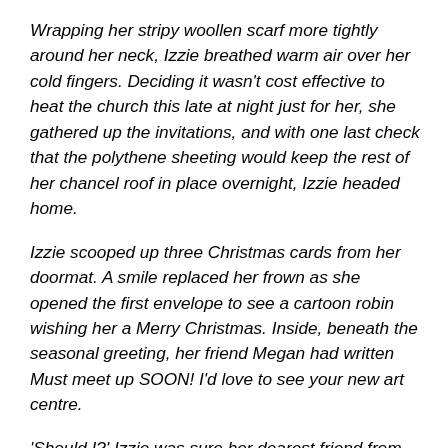Wrapping her stripy woollen scarf more tightly around her neck, Izzie breathed warm air over her cold fingers. Deciding it wasn't cost effective to heat the church this late at night just for her, she gathered up the invitations, and with one last check that the polythene sheeting would keep the rest of her chancel roof in place overnight, Izzie headed home.
Izzie scooped up three Christmas cards from her doormat. A smile replaced her frown as she opened the first envelope to see a cartoon robin wishing her a Merry Christmas. Inside, beneath the seasonal greeting, her friend Megan had written Must meet up SOON! I'd love to see your new art centre.
'Should I?' Izzie was sure her dearest friend from college